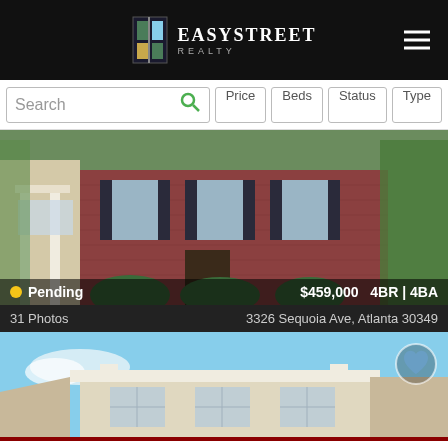EasyStreet Realty
Search | Price | Beds | Status | Type
[Figure (photo): Two-story brick house with white columns and black shutters, pending sale]
Pending  $459,000  4BR | 4BA
31 Photos  3326 Sequoia Ave, Atlanta 30349
[Figure (photo): Two-story cream/beige brick house with blue sky background]
Call to Schedule a Showing  (404) 998-4063